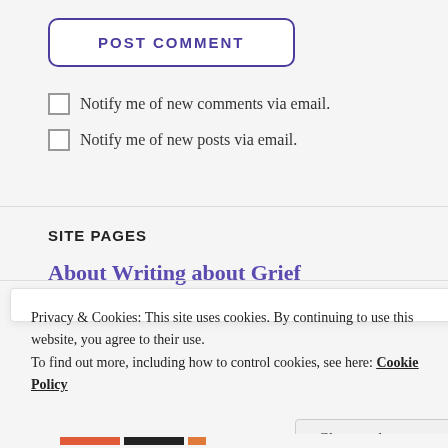POST COMMENT
Notify me of new comments via email.
Notify me of new posts via email.
SITE PAGES
About Writing about Grief
Privacy & Cookies: This site uses cookies. By continuing to use this website, you agree to their use.
To find out more, including how to control cookies, see here: Cookie Policy
Close and accept